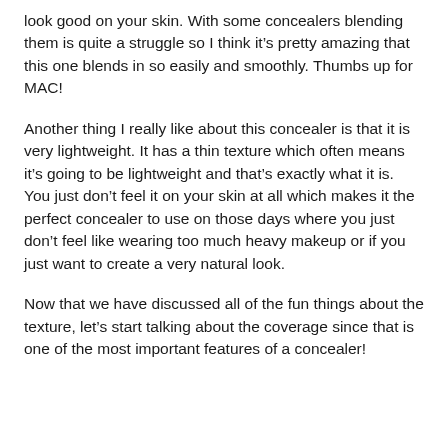look good on your skin. With some concealers blending them is quite a struggle so I think it's pretty amazing that this one blends in so easily and smoothly. Thumbs up for MAC!
Another thing I really like about this concealer is that it is very lightweight. It has a thin texture which often means it's going to be lightweight and that's exactly what it is. You just don't feel it on your skin at all which makes it the perfect concealer to use on those days where you just don't feel like wearing too much heavy makeup or if you just want to create a very natural look.
Now that we have discussed all of the fun things about the texture, let's start talking about the coverage since that is one of the most important features of a concealer!